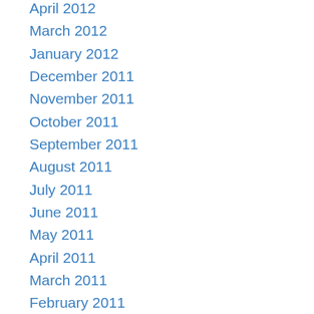April 2012
March 2012
January 2012
December 2011
November 2011
October 2011
September 2011
August 2011
July 2011
June 2011
May 2011
April 2011
March 2011
February 2011
January 2011